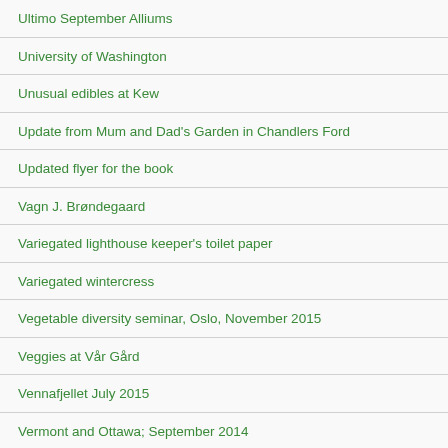Ultimo September Alliums
University of Washington
Unusual edibles at Kew
Update from Mum and Dad's Garden in Chandlers Ford
Updated flyer for the book
Vagn J. Brøndegaard
Variegated lighthouse keeper's toilet paper
Variegated wintercress
Vegetable diversity seminar, Oslo, November 2015
Veggies at Vår Gård
Vennafjellet July 2015
Vermont and Ottawa; September 2014